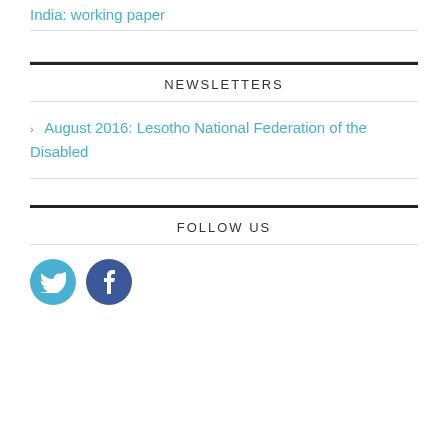India: working paper
NEWSLETTERS
August 2016: Lesotho National Federation of the Disabled
FOLLOW US
[Figure (illustration): Twitter and Facebook social media icons (circular). Twitter icon is light blue, Facebook icon is dark blue.]